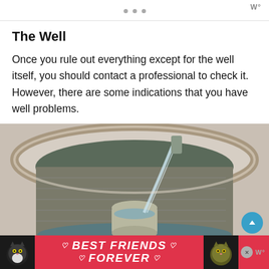• • •  W°
The Well
Once you rule out everything except for the well itself, you should contact a professional to check it. However, there are some indications that you have well problems.
[Figure (photo): Overhead view of a stone well with a bucket being filled with water flowing from a pipe into the well.]
[Figure (infographic): Advertisement banner: 'BEST FRIENDS FOREVER' with two cat images on either side on a red background.]